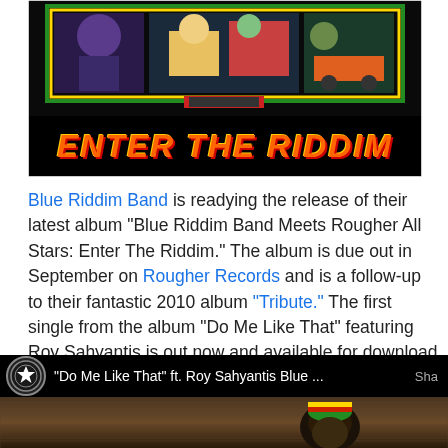[Figure (illustration): Album cover art for 'Blue Riddim Band Meets Rougher All Stars: Enter The Riddim' — black background with colorful cartoon characters at top and yellow/orange stylized text 'ENTER THE RIDDIM' at bottom]
Blue Riddim Band is readying the release of their latest album "Blue Riddim Band Meets Rougher All Stars: Enter The Riddim." The album is due out in September on Rougher Records and is a follow-up to their fantastic 2010 album "Tribute." The first single from the album "Do Me Like That" featuring Roy Sahyantis is out now and available for download on iTunes and from Rougher Records.
[Figure (screenshot): YouTube video screenshot showing 'Do Me Like That' ft. Roy Sahyantis Blue ... with a Rougher Records channel icon (star logo) and a video thumbnail of a person wearing a rasta hat against a stone wall background]